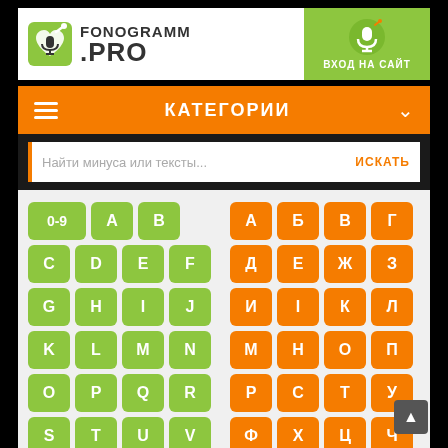[Figure (screenshot): Fonogramm.pro logo with microphone/music icon]
ВХОД НА САЙТ
КАТЕГОРИИ
Найти минуса или тексты...
ИСКАТЬ
0-9 A B C D E F G H I J K L M N O P Q R S T U V W X Y Z А Б В Г Д Е Ж З И І К Л М Н О П Р С Т У Ф Х Ц Ч Ш Э Ю Я